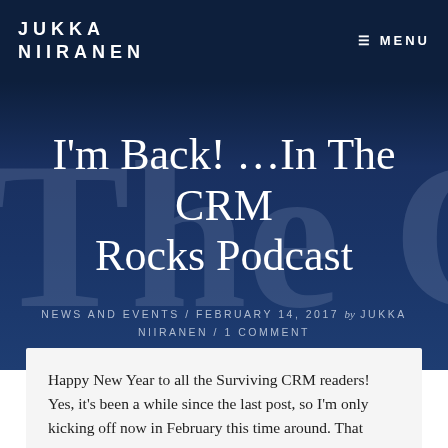JUKKA NIIRANEN
I'm Back! …In The CRM Rocks Podcast
NEWS AND EVENTS / FEBRUARY 14, 2017 by JUKKA NIIRANEN / 1 COMMENT
Happy New Year to all the Surviving CRM readers! Yes, it's been a while since the last post, so I'm only kicking off now in February this time around. That